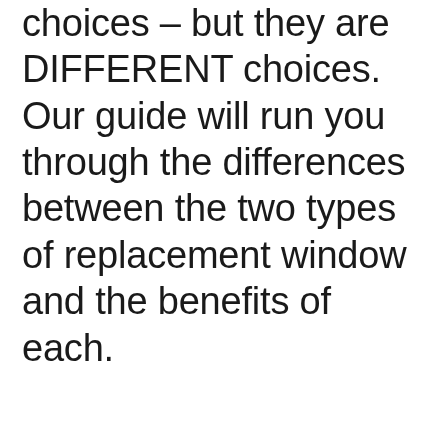choices – but they are DIFFERENT choices. Our guide will run you through the differences between the two types of replacement window and the benefits of each.